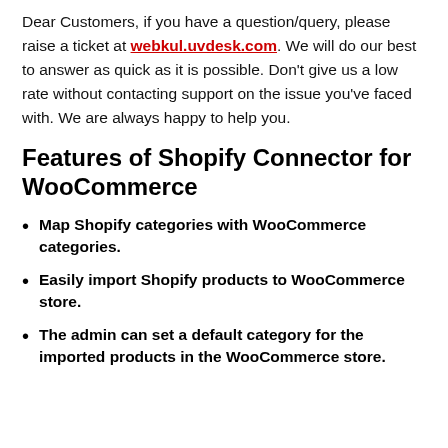Dear Customers, if you have a question/query, please raise a ticket at webkul.uvdesk.com. We will do our best to answer as quick as it is possible. Don't give us a low rate without contacting support on the issue you've faced with. We are always happy to help you.
Features of Shopify Connector for WooCommerce
Map Shopify categories with WooCommerce categories.
Easily import Shopify products to WooCommerce store.
The admin can set a default category for the imported products in the WooCommerce store.